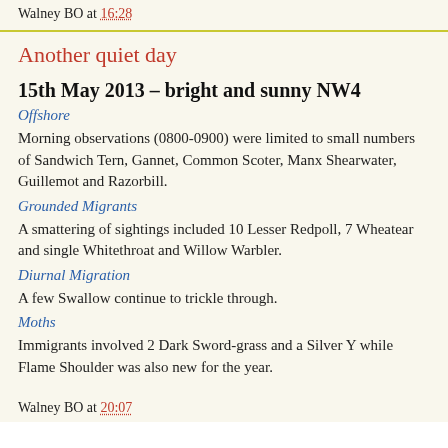Walney BO at 16:28
Another quiet day
15th May 2013 – bright and sunny NW4
Offshore
Morning observations (0800-0900) were limited to small numbers of Sandwich Tern, Gannet, Common Scoter, Manx Shearwater, Guillemot and Razorbill.
Grounded Migrants
A smattering of sightings included 10 Lesser Redpoll, 7 Wheatear and single Whitethroat and Willow Warbler.
Diurnal Migration
A few Swallow continue to trickle through.
Moths
Immigrants involved 2 Dark Sword-grass and a Silver Y while Flame Shoulder was also new for the year.
Walney BO at 20:07